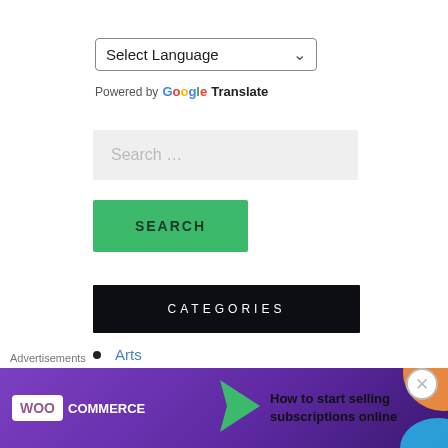Select Language
Powered by Google Translate
Search ...
SEARCH
CATEGORIES
Arts
Destinations
Advertisements
[Figure (screenshot): WooCommerce advertisement banner: How to start selling subscriptions online]